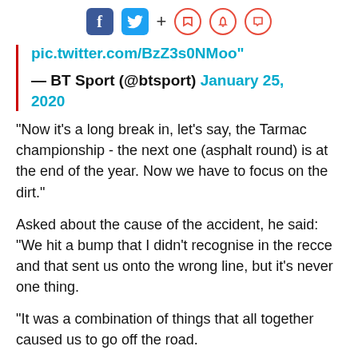[Figure (other): Social media sharing icons: Facebook (blue square with f), Twitter (blue square with bird), plus sign, and three red circle outline icons (bookmark, bell, chat)]
pic.twitter.com/BzZ3s0NMoo"

— BT Sport (@btsport) January 25, 2020
"Now it's a long break in, let's say, the Tarmac championship - the next one (asphalt round) is at the end of the year. Now we have to focus on the dirt."
Asked about the cause of the accident, he said: "We hit a bump that I didn't recognise in the recce and that sent us onto the wrong line, but it's never one thing.
"It was a combination of things that all together caused us to go off the road.
"A...